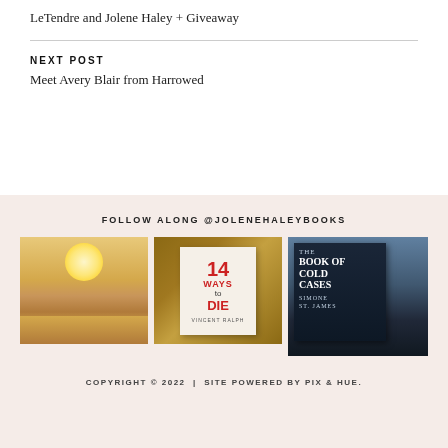LeTendre and Jolene Haley + Giveaway
NEXT POST
Meet Avery Blair from Harrowed
FOLLOW ALONG @JOLENEHALEYBOOKS
[Figure (photo): Person standing on a beach at sunset with bright sunlight]
[Figure (photo): Book cover: 14 Ways to Die by Vincent Ralph on a wooden surface]
[Figure (photo): Book cover: The Book of Cold Cases by Simone St. James propped against a car window]
COPYRIGHT © 2022  |  SITE POWERED BY PIX & HUE.